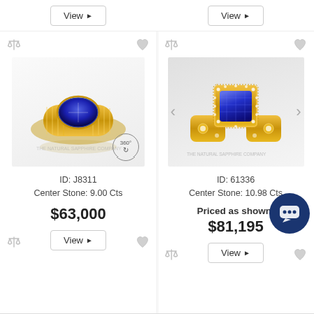[Figure (other): Top View buttons for two products (top of page cut off)]
[Figure (photo): Gold ring with oval blue sapphire cabochon center stone, ridged yellow gold band, ID J8311, 9.00 Cts, with 360-degree view indicator]
ID: J8311
Center Stone: 9.00 Cts
$63,000
[Figure (photo): Yellow gold ring with large asscher-cut blue sapphire center stone and diamond halo/pave band, ID 61336, 10.98 Cts]
ID: 61336
Center Stone: 10.98 Cts
Priced as shown:
$81,195